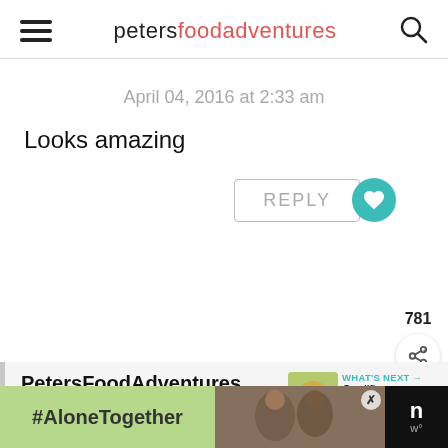petersfoodadventures
April 04, 2016 at 2:33 am
Looks amazing
REPLY
781
PetersFoodAdventures
April 04, 2016 at 2:33 am
WHAT'S NEXT → Cauliflower Fried Rice...
#AloneTogether
[Figure (screenshot): Ad banner at bottom with #AloneTogether and people photo]